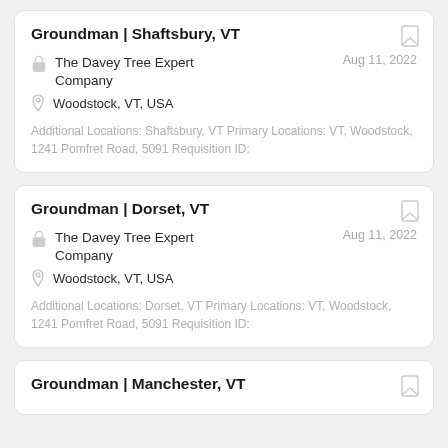Groundman | Shaftsbury, VT
The Davey Tree Expert Company
Aug 11, 2022
Woodstock, VT, USA
Additional Locations:  Shaftsbury, VT Primary Locations:  VT, Woodstock, 1241 Pomfret Road, 5091  Requisition ID:
Groundman | Dorset, VT
The Davey Tree Expert Company
Aug 11, 2022
Woodstock, VT, USA
Additional Locations:  Dorset, VT Primary Locations:  VT, Woodstock, 1241 Pomfret Road, 5091  Requisition ID:
Groundman | Manchester, VT